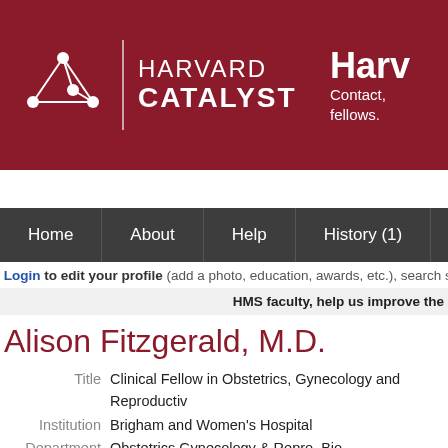[Figure (logo): Harvard Catalyst logo with network graph icon, text 'HARVARD CATALYST', and partial right-side text 'Harv... Contact, fellows.']
Home | About | Help | History (1)
Login to edit your profile (add a photo, education, awards, etc.), search s
HMS faculty, help us improve the
Alison Fitzgerald, M.D.
| Field | Value |
| --- | --- |
| Title | Clinical Fellow in Obstetrics, Gynecology and Reproductiv |
| Institution | Brigham and Women's Hospital |
| Department | Obstetrics Gynecology & Repro. Bio. |
| Address | Brigham and Women's Hospital
75 Francis St
Boston MA 02115 |